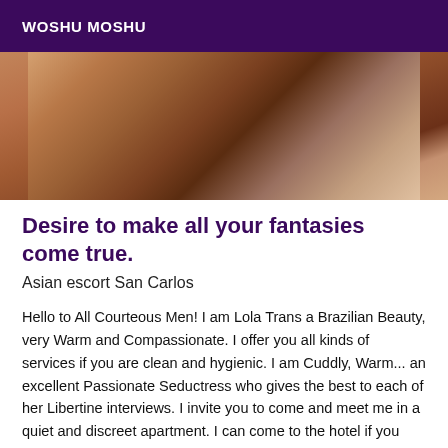WOSHU MOSHU
[Figure (photo): Close-up photo showing skin/body tones in warm brown and tan shades]
Desire to make all your fantasies come true.
Asian escort San Carlos
Hello to All Courteous Men! I am Lola Trans a Brazilian Beauty, very Warm and Compassionate. I offer you all kinds of services if you are clean and hygienic. I am Cuddly, Warm... an excellent Passionate Seductress who gives the best to each of her Libertine interviews. I invite you to come and meet me in a quiet and discreet apartment. I can come to the hotel if you prefer. All my photos are real, you will not have any bad surprises! MEETING CONDITION I'm looking for meetings based on Courtesy with Irreproachable Hygiene! At the time of